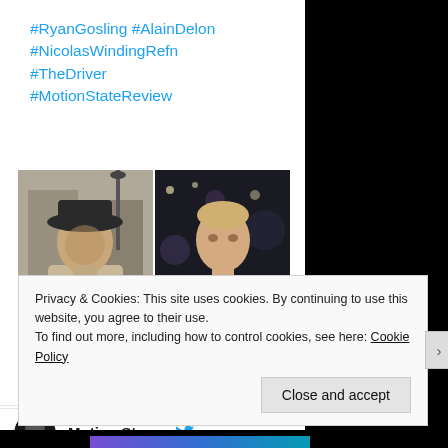#RyanGosling #AlainDelon #NicolasWindingRefn #TheDriver #MotionStateReview
[Figure (photo): Two side-by-side stills: left shows a man in a wide-brim hat and trenchcoat (Alain Delon style); right shows a man in a light jacket looking up (Ryan Gosling in Drive)]
Motion Sta...
Privacy & Cookies: This site uses cookies. By continuing to use this website, you agree to their use.
To find out more, including how to control cookies, see here: Cookie Policy
Close and accept